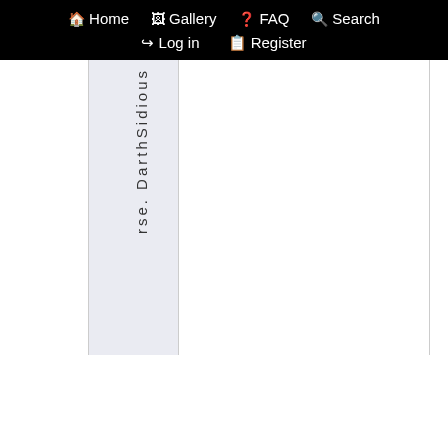Home  Gallery  FAQ  Search  Log in  Register
rse. DarthSidious